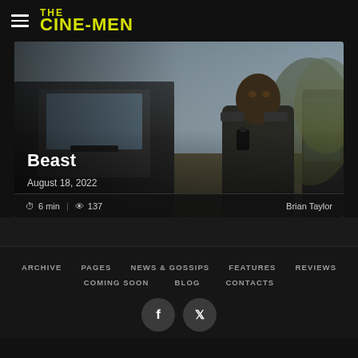THE CINE-MEN
[Figure (photo): Movie still showing a Black man holding a radio/walkie-talkie next to a vehicle, under an open sky, for the film Beast (2022)]
Beast
August 18, 2022
6 min | 137  Brian Taylor
ARCHIVE  PAGES  NEWS & GOSSIPS  FEATURES  REVIEWS  COMING SOON  BLOG  CONTACTS